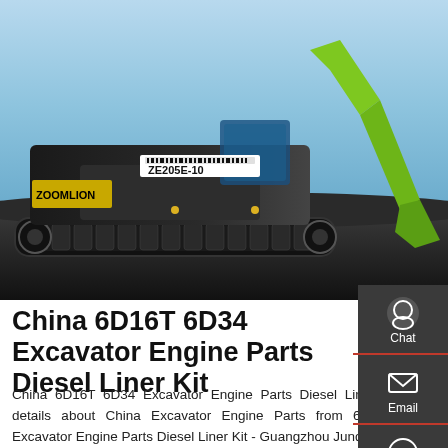[Figure (photo): Zoomlion ZE205E-10 excavator with green arm and black body on a construction site with rocky ground and blue sky background.]
China 6D16T 6D34 Excavator Engine Parts Diesel Liner Kit
China 6D16T 6D34 Excavator Engine Parts Diesel Liner Kit, Find details about China Excavator Engine Parts from 6D16T 6D34 Excavator Engine Parts Diesel Liner Kit - Guangzhou Junda Machinery & Equipment Co., Ltd..